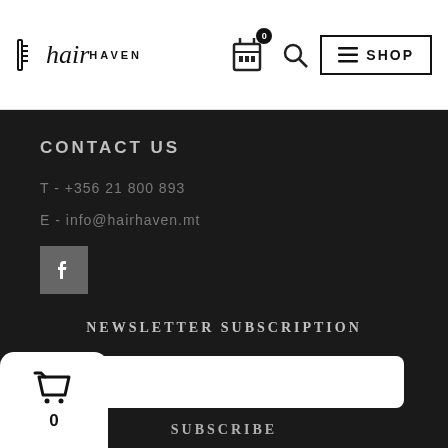[Figure (logo): Hair Haven logo with comb icon, italic 'hair' and uppercase 'HAVEN' text]
[Figure (illustration): Shopping cart icon with badge showing 0, magnifying glass search icon, and SHOP button with hamburger menu icon]
CONTACT US
T - +356 21 800 893
E - info@hairhaven.mt
[Figure (illustration): Facebook square icon button (grey background, white f)]
NEWSLETTER SUBSCRIPTION
il
SUBSCRIBE
[Figure (illustration): Floating white rounded basket/cart icon with count 0]